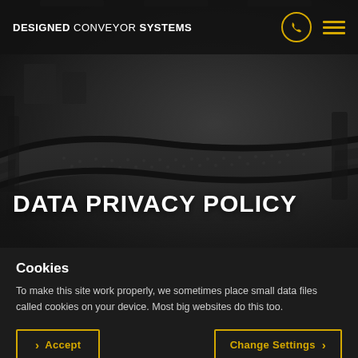DESIGNED CONVEYOR SYSTEMS
[Figure (screenshot): Dark-tinted photo of a curved conveyor belt system in an industrial facility, viewed from above at an angle. The conveyor belt surface shows a textured pattern and curves through the frame.]
DATA PRIVACY POLICY
Cookies
To make this site work properly, we sometimes place small data files called cookies on your device. Most big websites do this too.
Accept  Change Settings